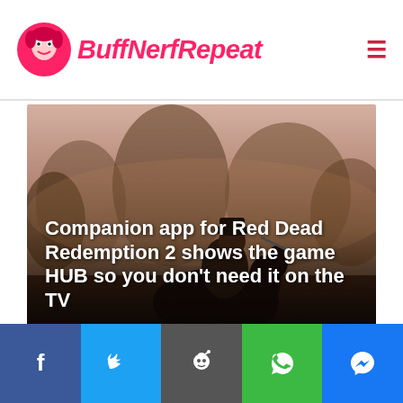BuffNerfRepeat
[Figure (photo): Hero image of a cowboy on horseback holding a rifle, with a misty forest and warm sunset background. Overlay text reads: 'Companion app for Red Dead Redemption 2 shows the game HUB so you don't need it on the TV'. Meta: Ricky Dawn, October 24, 2018, 0 Comments.]
Companion app for Red Dead Redemption 2 shows the game HUB so you don't need it on the TV
Ricky Dawn  October 24, 2018  0 Comments
[Figure (infographic): Social share bar with five buttons: Facebook (f), Twitter (bird), Reddit (alien), WhatsApp (phone), Messenger (lightning bolt).]